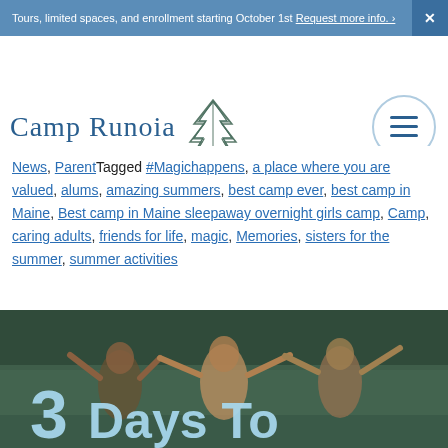Tours, limited spaces, and enrollment starting October 1st Request more info. ›  ×
[Figure (logo): Camp Runoia logo with pine tree illustration and text 'CAMP RUNOIA', hamburger menu button on right]
News, Parent Tagged #Magichappens, a place where you are valued, alums, amazing summers, best camp ever, best camp in Maine, Best camp in Maine sleepaway overnight girls camp, Camp, caring adults, friends for life, magic, Memories, sisters for the summer, summer activities
[Figure (photo): Three girls in life vests with arms raised, text overlay reading '3Days To' in large blue handwritten font, outdoor camp photo]